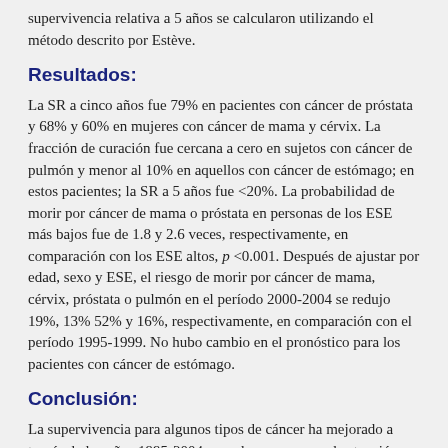supervivencia relativa a 5 años se calcularon utilizando el método descrito por Estève.
Resultados:
La SR a cinco años fue 79% en pacientes con cáncer de próstata y 68% y 60% en mujeres con cáncer de mama y cérvix. La fracción de curación fue cercana a cero en sujetos con cáncer de pulmón y menor al 10% en aquellos con cáncer de estómago; en estos pacientes; la SR a 5 años fue <20%. La probabilidad de morir por cáncer de mama o próstata en personas de los ESE más bajos fue de 1.8 y 2.6 veces, respectivamente, en comparación con los ESE altos, p <0.001. Después de ajustar por edad, sexo y ESE, el riesgo de morir por cáncer de mama, cérvix, próstata o pulmón en el período 2000-2004 se redujo 19%, 13% 52% y 16%, respectivamente, en comparación con el período 1995-1999. No hubo cambio en el pronóstico para los pacientes con cáncer de estómago.
Conclusión:
La supervivencia para algunos tipos de cáncer ha mejorado a través de los años 1995-2004, pero los programas de atención para los pacientes con cáncer